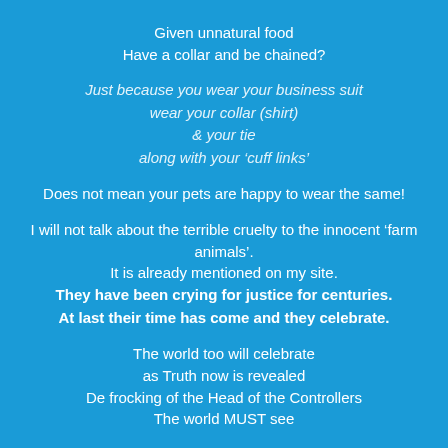Given unnatural food
Have a collar and be chained?
Just because you wear your business suit
wear your collar (shirt)
& your tie
along with your ‘cuff links’
Does not mean your pets are happy to wear the same!
I will not talk about the terrible cruelty to the innocent ‘farm animals’.
It is already mentioned on my site.
They have been crying for justice for centuries.
At last their time has come and they celebrate.
The world too will celebrate
as Truth now is revealed
De frocking of the Head of the Controllers
The world MUST see